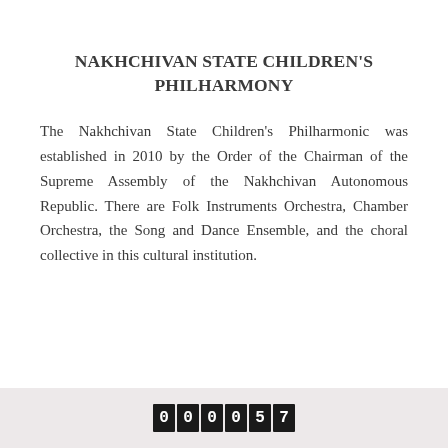NAKHCHIVAN STATE CHILDREN'S PHILHARMONY
The Nakhchivan State Children's Philharmonic was established in 2010 by the Order of the Chairman of the Supreme Assembly of the Nakhchivan Autonomous Republic. There are Folk Instruments Orchestra, Chamber Orchestra, the Song and Dance Ensemble, and the choral collective in this cultural institution.
000057